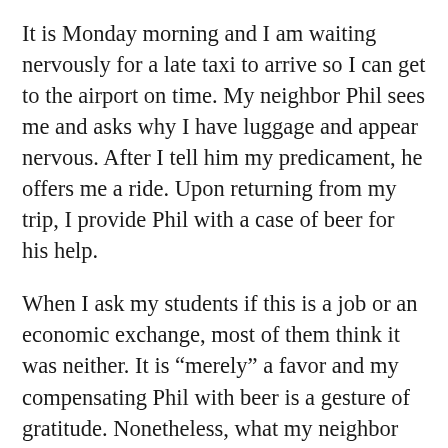It is Monday morning and I am waiting nervously for a late taxi to arrive so I can get to the airport on time. My neighbor Phil sees me and asks why I have luggage and appear nervous. After I tell him my predicament, he offers me a ride. Upon returning from my trip, I provide Phil with a case of beer for his help.
When I ask my students if this is a job or an economic exchange, most of them think it was neither. It is “merely” a favor and my compensating Phil with beer is a gesture of gratitude. Nonetheless, what my neighbor did for me was a “job” in the sense of a task performed.